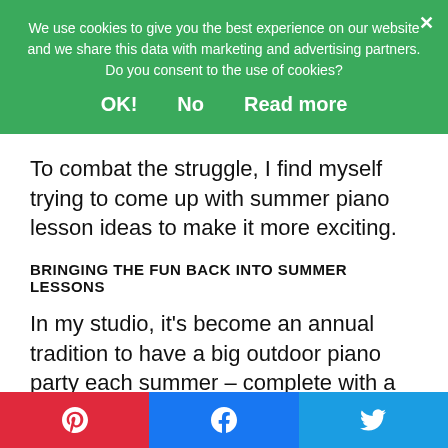We use cookies to give you the best experience on our website and we share this data with marketing and advertising partners. Do you consent to the use of cookies?
OK!   No   Read more
To combat the struggle, I find myself trying to come up with summer piano lesson ideas to make it more exciting.
BRINGING THE FUN BACK INTO SUMMER LESSONS
In my studio, it's become an annual tradition to have a big outdoor piano party each summer – complete with a very